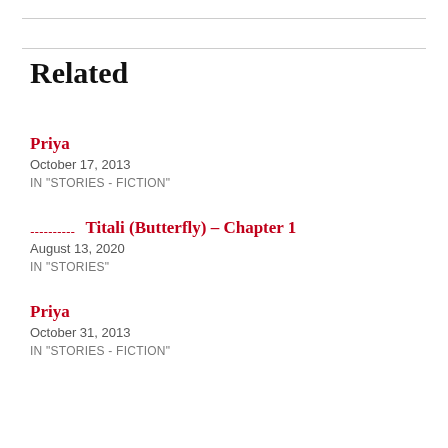Related
Priya
October 17, 2013
IN "STORIES - FICTION"
�����  Titali (Butterfly) – Chapter 1
August 13, 2020
IN "STORIES"
Priya
October 31, 2013
IN "STORIES - FICTION"